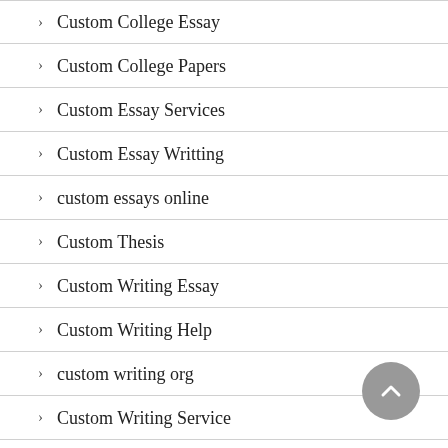> Custom College Essay
> Custom College Papers
> Custom Essay Services
> Custom Essay Writting
> custom essays online
> Custom Thesis
> Custom Writing Essay
> Custom Writing Help
> custom writing org
> Custom Writing Service